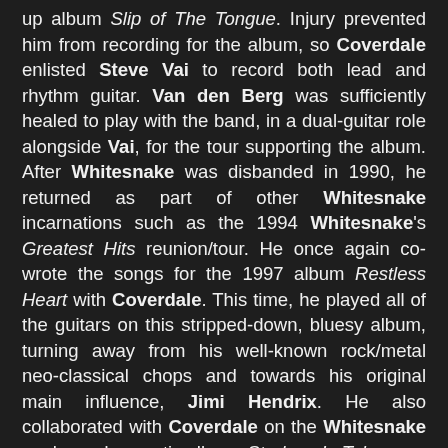up album Slip of The Tongue. Injury prevented him from recording for the album, so Coverdale enlisted Steve Vai to record both lead and rhythm guitar. Van den Berg was sufficiently healed to play with the band, in a dual-guitar role alongside Vai, for the tour supporting the album. After Whitesnake was disbanded in 1990, he returned as part of other Whitesnake incarnations such as the 1994 Whitesnake's Greatest Hits reunion/tour. He once again co-wrote the songs for the 1997 album Restless Heart with Coverdale. This time, he played all of the guitars on this stripped-down, bluesy album, turning away from his well-known rock/metal neo-classical chops and towards his original main influence, Jimi Hendrix. He also collaborated with Coverdale on the Whitesnake unplugged acoustic album, Starkers In Tokyo.